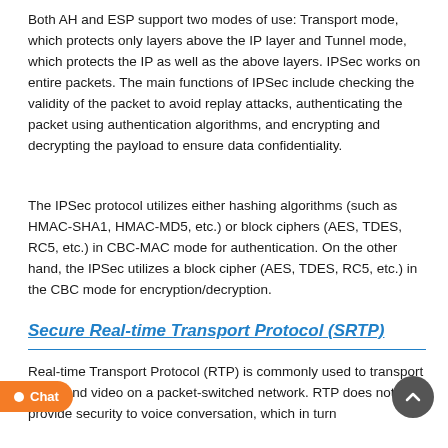Both AH and ESP support two modes of use: Transport mode, which protects only layers above the IP layer and Tunnel mode, which protects the IP as well as the above layers. IPSec works on entire packets. The main functions of IPSec include checking the validity of the packet to avoid replay attacks, authenticating the packet using authentication algorithms, and encrypting and decrypting the payload to ensure data confidentiality.
The IPSec protocol utilizes either hashing algorithms (such as HMAC-SHA1, HMAC-MD5, etc.) or block ciphers (AES, TDES, RC5, etc.) in CBC-MAC mode for authentication. On the other hand, the IPSec utilizes a block cipher (AES, TDES, RC5, etc.) in the CBC mode for encryption/decryption.
Secure Real-time Transport Protocol (SRTP)
Real-time Transport Protocol (RTP) is commonly used to transport audio and video on a packet-switched network. RTP does not provide security to voice conversation, which in turn...